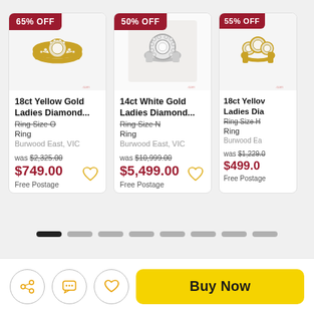[Figure (screenshot): Product card 1: 18ct Yellow Gold Ladies Diamond Ring, 65% OFF, was $2,325.00, now $749.00, Free Postage, Burwood East VIC]
[Figure (screenshot): Product card 2: 14ct White Gold Ladies Diamond Ring, 50% OFF, was $10,999.00, now $5,499.00, Free Postage, Burwood East VIC]
[Figure (screenshot): Product card 3 (partial): 18ct Yellow Gold Ladies Diamond Ring, 55% OFF, was $1,229.xx, now $499.xx, Free Postage, Burwood East]
[Figure (infographic): Pagination indicator: 8 dots, first one active (dark)]
[Figure (infographic): Bottom bar with share icon, chat icon, heart icon, and Buy Now yellow button]